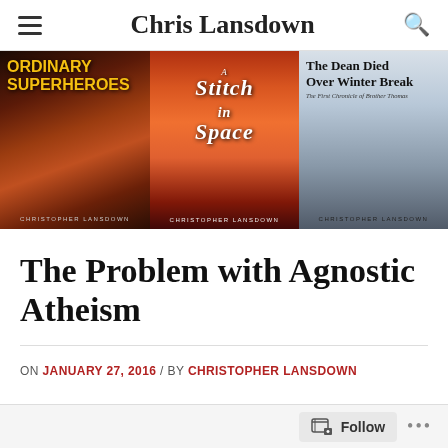Chris Lansdown
[Figure (illustration): Three book covers displayed side by side: 'Ordinary Superheroes' by Christopher Lansdown (left, dark fantasy cover), 'A Stitch in Space' by Christopher Lansdown (center, fiery explosion cover), 'The Dean Died Over Winter Break - The First Chronicle of Brother Thomas' by Christopher Lansdown (right, dark moody cover).]
The Problem with Agnostic Atheism
ON JANUARY 27, 2016 / BY CHRISTOPHER LANSDOWN